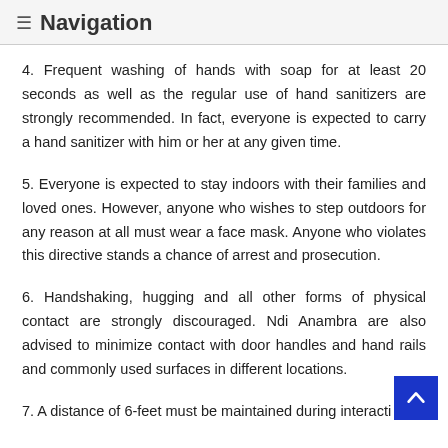≡ Navigation
4. Frequent washing of hands with soap for at least 20 seconds as well as the regular use of hand sanitizers are strongly recommended. In fact, everyone is expected to carry a hand sanitizer with him or her at any given time.
5. Everyone is expected to stay indoors with their families and loved ones. However, anyone who wishes to step outdoors for any reason at all must wear a face mask. Anyone who violates this directive stands a chance of arrest and prosecution.
6. Handshaking, hugging and all other forms of physical contact are strongly discouraged. Ndi Anambra are also advised to minimize contact with door handles and hand rails and commonly used surfaces in different locations.
7. A distance of 6-feet must be maintained during interaction